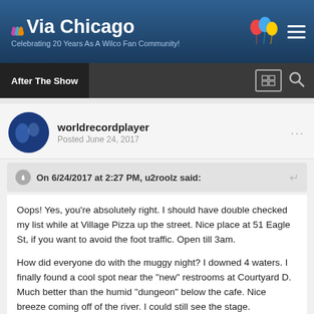Via Chicago — Celebrating 20 Years As A Wilco Fan Community!
After The Show
worldrecordplayer
Posted June 24, 2017
On 6/24/2017 at 2:27 PM, u2roolz said:
Oops! Yes, you're absolutely right. I should have double checked my list while at Village Pizza up the street. Nice place at 51 Eagle St, if you want to avoid the foot traffic. Open till 3am.

How did everyone do with the muggy night? I downed 4 waters. I finally found a cool spot near the "new" restrooms at Courtyard D. Much better than the humid "dungeon" below the cafe. Nice breeze coming off of the river. I could still see the stage.